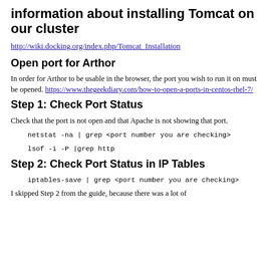information about installing Tomcat on our cluster
http://wiki.docking.org/index.php/Tomcat_Installation
Open port for Arthor
In order for Arthor to be usable in the browser, the port you wish to run it on must be opened. https://www.thegeekdiary.com/how-to-open-a-ports-in-centos-rhel-7/
Step 1: Check Port Status
Check that the port is not open and that Apache is not showing that port.
netstat -na | grep <port number you are checking>
lsof -i -P |grep http
Step 2: Check Port Status in IP Tables
iptables-save | grep <port number you are checking>
I skipped Step 2 from the guide, because there was a lot of